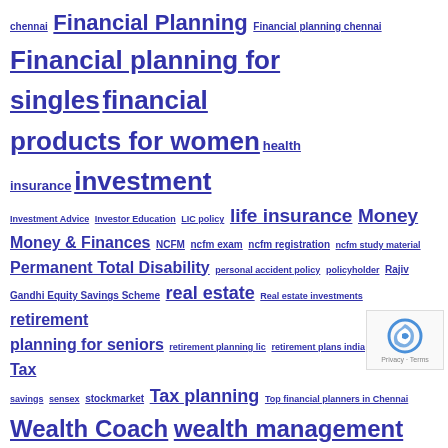chennai Financial Planning Financial planning chennai Financial planning for singles financial products for women health insurance investment Investment Advice Investor Education LIC policy life insurance Money Money & Finances NCFM ncfm exam ncfm registration ncfm study material Permanent Total Disability personal accident policy policyholder Rajiv Gandhi Equity Savings Scheme real estate Real estate investments retirement planning for seniors retirement planning lic retirement plans india Save Tax savings sensex stockmarket Tax planning Top financial planners in Chennai Wealth Coach wealth management wealth manager Wealth Protection | Tagged insurance
Our Newsletter
Subscribe to our newsletter to get the latest updates from our blog. We respect your privacy.
Search this website +91 72000 39282
About Us